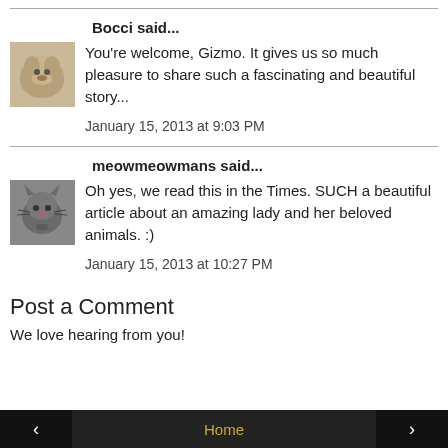Bocci said...
[Figure (photo): Small avatar photo of a fluffy light-colored dog (Bocci)]
You're welcome, Gizmo. It gives us so much pleasure to share such a fascinating and beautiful story...
January 15, 2013 at 9:03 PM
meowmeowmans said...
[Figure (photo): Small avatar photo of a gray cat (meowmeowmans)]
Oh yes, we read this in the Times. SUCH a beautiful article about an amazing lady and her beloved animals. :)
January 15, 2013 at 10:27 PM
Post a Comment
We love hearing from you!